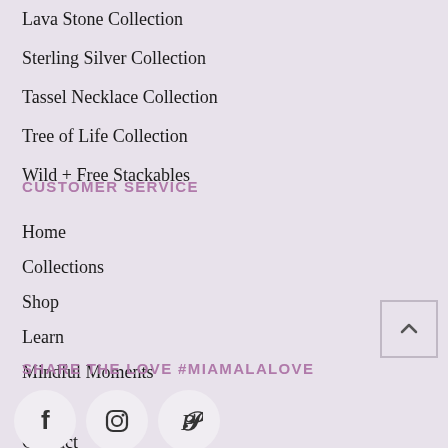Lava Stone Collection
Sterling Silver Collection
Tassel Necklace Collection
Tree of Life Collection
Wild + Free Stackables
CUSTOMER SERVICE
Home
Collections
Shop
Learn
Mindful Moments
About
Contact
SHARE THE LOVE #MIAMALALOVE
[Figure (other): Social media icons: Facebook, Instagram, Pinterest in circular white buttons]